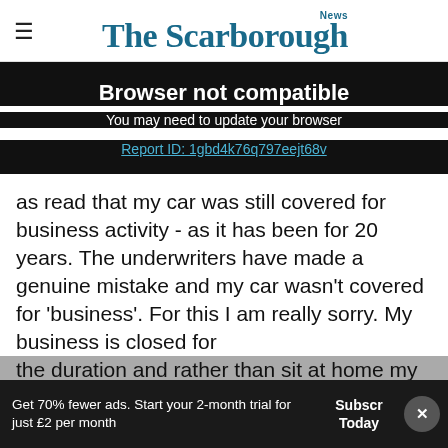The Scarborough News
Browser not compatible
You may need to update your browser
Report ID: 1gbd4k76q797eejt68v
as read that my car was still covered for business activity - as it has been for 20 years. The underwriters have made a genuine mistake and my car wasn't covered for 'business'. For this I am really sorry. My business is closed for the duration and rather than sit at home my team think it better to support our community
Get 70% fewer ads. Start your 2-month trial for just £2 per month  Subscribe Today